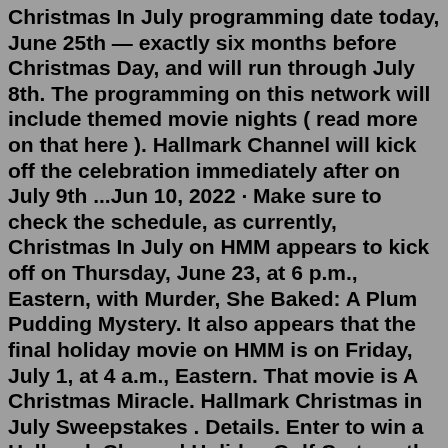Christmas In July programming date today, June 25th — exactly six months before Christmas Day, and will run through July 8th. The programming on this network will include themed movie nights ( read more on that here ). Hallmark Channel will kick off the celebration immediately after on July 9th ...Jun 10, 2022 · Make sure to check the schedule, as currently, Christmas In July on HMM appears to kick off on Thursday, June 23, at 6 p.m., Eastern, with Murder, She Baked: A Plum Pudding Mystery. It also appears that the final holiday movie on HMM is on Friday, July 1, at 4 a.m., Eastern. That movie is A Christmas Miracle. Hallmark Christmas in July Sweepstakes . Details. Enter to win a Hallmark Channel Holiday Golf Cart worth $17,250. Lots of additional prizes including Pickleball Sets, Balsam Hill trees, games, decor and more. Prizes: Hallmark Channel Holiday Golf Cart. Value: $34,395. Entry: Enter Free Daily.Jun 20, 2022 · Cast: Kayla Wallace, Kevin McGarry. Air date: Saturday, July 9. Synopsis: Taylor (Wallace), a journalist, and Luke (McGarry), in the